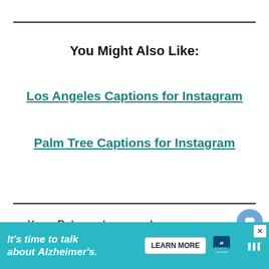You Might Also Like:
Los Angeles Captions for Instagram
Palm Tree Captions for Instagram
Keep Palm and carry on!
I think Palm Springs looks pretty good on
[Figure (other): Advertisement banner for Alzheimer's Association: 'It's time to talk about Alzheimer's.' with a Learn More button]